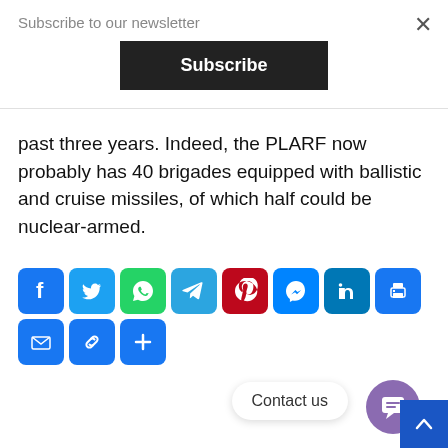Subscribe to our newsletter
Subscribe
past three years. Indeed, the PLARF now probably has 40 brigades equipped with ballistic and cruise missiles, of which half could be nuclear-armed.
[Figure (infographic): Row of social media sharing icons: Facebook (blue), Twitter (blue), WhatsApp (green), Telegram (blue), Pinterest (red), Messenger (blue), LinkedIn (blue), Print (blue), Email (blue), Copy link (blue), and a plus/more button (blue)]
Contact us